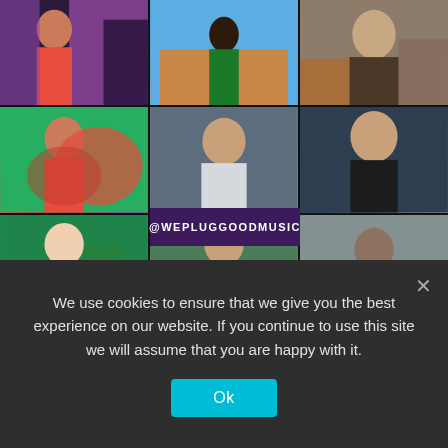[Figure (photo): 3x3 photo grid of musicians and artists with @WEPLUGGOODMUSIC overlay label in the center]
We use cookies to ensure that we give you the best experience on our website. If you continue to use this site we will assume that you are happy with it.
Ok